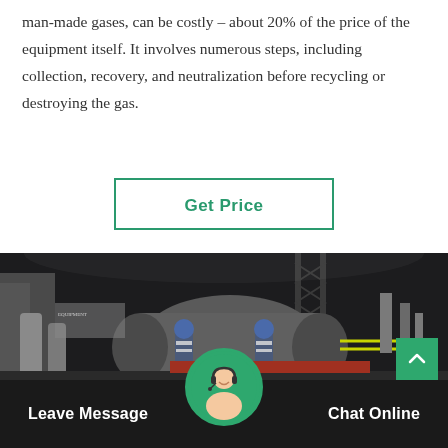man-made gases, can be costly – about 20% of the price of the equipment itself. It involves numerous steps, including collection, recovery, and neutralization before recycling or destroying the gas.
Get Price
[Figure (photo): Industrial facility at night showing heavy machinery and equipment with workers in safety gear and reflective vests]
Leave Message
Chat Online